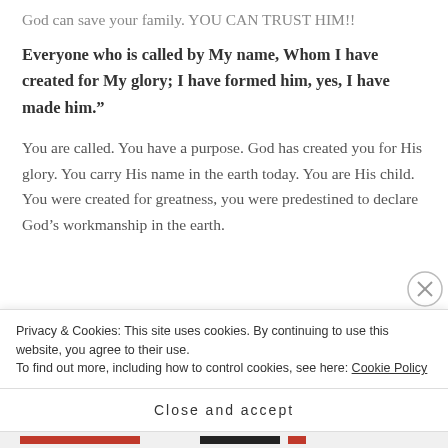God can save your family. YOU CAN TRUST HIM!!
Everyone who is called by My name, Whom I have created for My glory; I have formed him, yes, I have made him.”
You are called. You have a purpose. God has created you for His glory. You carry His name in the earth today. You are His child. You were created for greatness, you were predestined to declare God’s workmanship in the earth.
Privacy & Cookies: This site uses cookies. By continuing to use this website, you agree to their use.
To find out more, including how to control cookies, see here: Cookie Policy
Close and accept